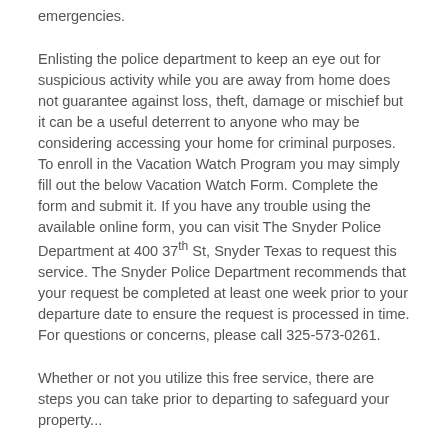emergencies.
Enlisting the police department to keep an eye out for suspicious activity while you are away from home does not guarantee against loss, theft, damage or mischief but it can be a useful deterrent to anyone who may be considering accessing your home for criminal purposes. To enroll in the Vacation Watch Program you may simply fill out the below Vacation Watch Form. Complete the form and submit it. If you have any trouble using the available online form, you can visit The Snyder Police Department at 400 37th St, Snyder Texas to request this service. The Snyder Police Department recommends that your request be completed at least one week prior to your departure date to ensure the request is processed in time. For questions or concerns, please call 325-573-0261.
Whether or not you utilize this free service, there are steps you can take prior to departing to safeguard your property...